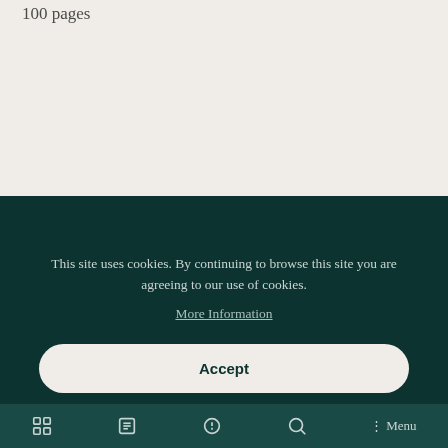100 pages
This site uses cookies. By continuing to browse this site you are agreeing to our use of cookies.
More Information
Accept
Menu